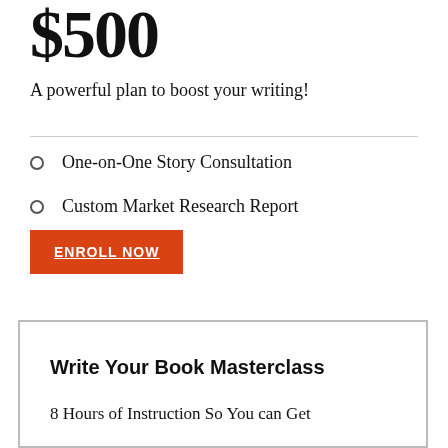$500
A powerful plan to boost your writing!
One-on-One Story Consultation
Custom Market Research Report
ENROLL NOW
Write Your Book Masterclass
8 Hours of Instruction So You can Get